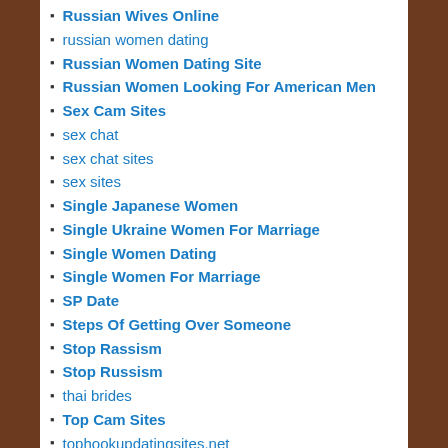Russian Wives Online
russian women dating
Russian Women Dating Site
Russian Women Looking For American Men
Sex Cam Sites
sex chat
sex chat sites
sex sites
Single Japanese Women
Single Ukraine Women For Marriage
Single Women Dating
Single Women For Marriage
SP Date
Steps Of Getting Over Someone
Stop Rassism
Stop Russism
thai brides
Top Cam Sites
tophookupdatingsites.net
tophookupdatingsites.net top hookup dating sites
Type Of Tarot Readings